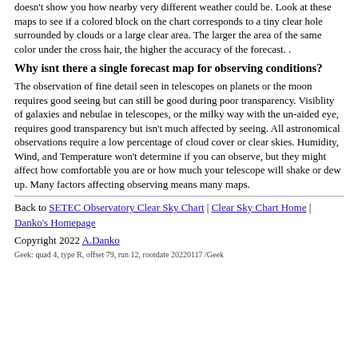doesn't show you how nearby very different weather could be. Look at these maps to see if a colored block on the chart corresponds to a tiny clear hole surrounded by clouds or a large clear area. The larger the area of the same color under the cross hair, the higher the accuracy of the forecast. .
Why isnt there a single forecast map for observing conditions?
The observation of fine detail seen in telescopes on planets or the moon requires good seeing but can still be good during poor transparency. Visiblity of galaxies and nebulae in telescopes, or the milky way with the un-aided eye, requires good transparency but isn't much affected by seeing. All astronomical observations require a low percentage of cloud cover or clear skies. Humidity, Wind, and Temperature won't determine if you can observe, but they might affect how comfortable you are or how much your telescope will shake or dew up. Many factors affecting observing means many maps.
Back to SETEC Observatory Clear Sky Chart | Clear Sky Chart Home | Danko's Homepage
Copyright 2022 A.Danko
Geek: quad 4, type R, offset 79, run 12, rootdate 20220117 /Geek